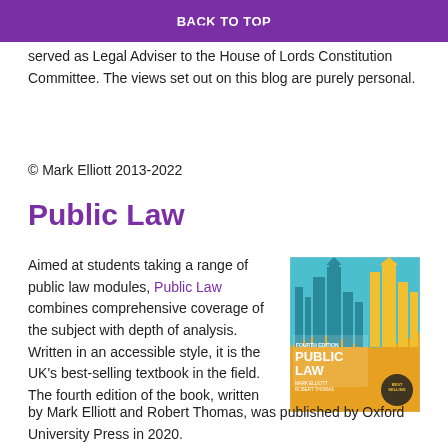BACK TO TOP
the University of Cambridge. He is also a Fellow of St Catharine's College, Cambridge. From 2015 to 2019, he served as Legal Adviser to the House of Lords Constitution Committee. The views set out on this blog are purely personal.
© Mark Elliott 2013-2022
Public Law
Aimed at students taking a range of public law modules, Public Law combines comprehensive coverage of the subject with depth of analysis. Written in an accessible style, it is the UK's best-selling textbook in the field. The fourth edition of the book, written by Mark Elliott and Robert Thomas, was published by Oxford University Press in 2020.
[Figure (photo): Book cover of Public Law Fourth Edition by Mark Elliott and Robert Thomas, published by Oxford University Press. The cover shows a stylized illustration of the UK Parliament building with blue and orange/yellow colors. A 'Best Selling' badge is shown on the lower right corner.]